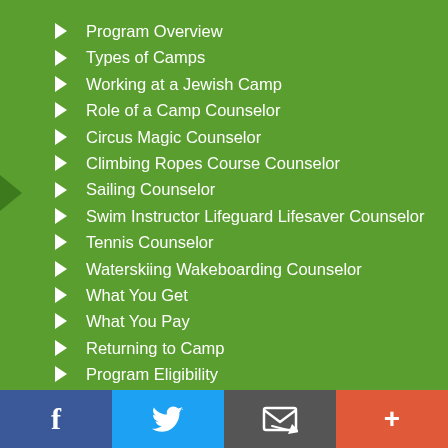Program Overview
Types of Camps
Working at a Jewish Camp
Role of a Camp Counselor
Circus Magic Counselor
Climbing Ropes Course Counselor
Sailing Counselor
Swim Instructor Lifeguard Lifesaver Counselor
Tennis Counselor
Waterskiing Wakeboarding Counselor
What You Get
What You Pay
Returning to Camp
Program Eligibility